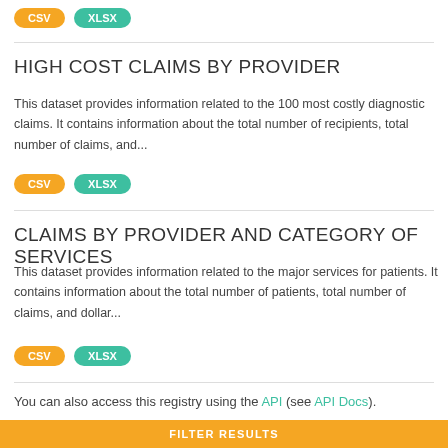CSV  XLSX
HIGH COST CLAIMS BY PROVIDER
This dataset provides information related to the 100 most costly diagnostic claims. It contains information about the total number of recipients, total number of claims, and...
CSV  XLSX
CLAIMS BY PROVIDER AND CATEGORY OF SERVICES
This dataset provides information related to the major services for patients. It contains information about the total number of patients, total number of claims, and dollar...
CSV  XLSX
You can also access this registry using the API (see API Docs).
FILTER RESULTS